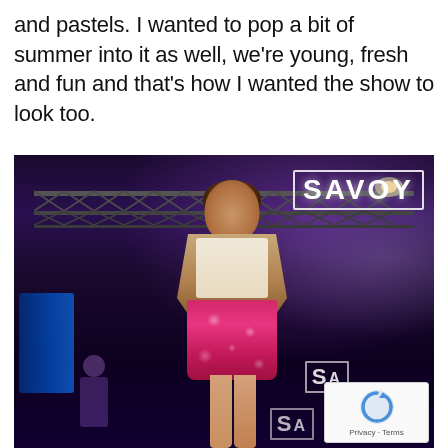and pastels. I wanted to pop a bit of summer into it as well, we're young, fresh and fun and that's how I wanted the show to look too.
[Figure (photo): A female model walking on a fashion show runway, wearing a pink sequined mini skirt, white top, and tan fringe jacket. The venue is dark with purple stage lighting and truss rigging overhead. A 'SAVOY' logo is visible in the upper right corner of the image in white outlined text.]